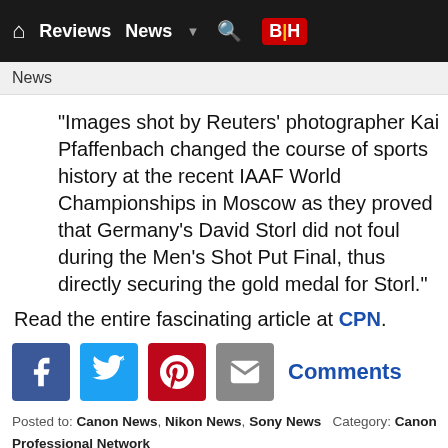Reviews | News | B|H
News
"Images shot by Reuters' photographer Kai Pfaffenbach changed the course of sports history at the recent IAAF World Championships in Moscow as they proved that Germany's David Storl did not foul during the Men's Shot Put Final, thus directly securing the gold medal for Storl."
Read the entire fascinating article at CPN.
[Figure (infographic): Social sharing icons: Facebook, Twitter, Pinterest, Email; and a Comments link]
Posted to: Canon News, Nikon News, Sony News Category: Canon Professional Network Post Date: 8/22/2013 7:39:19 AM CT Posted By: Sean